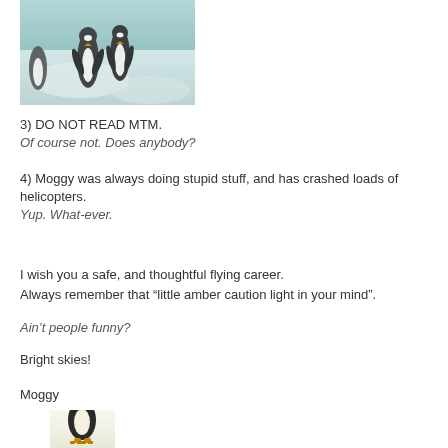[Figure (photo): Photo of penguins walking on snow/ice in an Antarctic setting]
3) DO NOT READ MTM.
Of course not. Does anybody?
4) Moggy was always doing stupid stuff, and has crashed loads of helicopters.
Yup. What-ever.
I wish you a safe, and thoughtful flying career.
Always remember that “little amber caution light in your mind”.
Ain’t people funny?
Bright skies!
Moggy
[Figure (photo): Partial photo of a penguin at the bottom of the page]